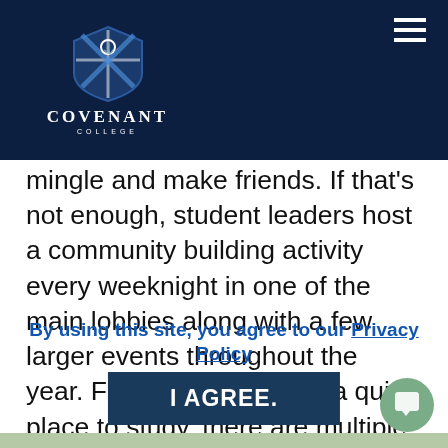[Figure (logo): Covenant College logo with shield emblem and college name in white on dark navy background]
mingle and make friends. If that's not enough, student leaders host a community building activity every weeknight in one of the main lobbies along with a few larger events throughout the year. For those who need a quiet place to study, there are multiple quiet study commons throughout the building.
While the building-wide community of Founders is strong, the individual halls and floors within Founders are some of the halls with the strongest identities on campus. Founders is home to men's halls of Catacombs, 1st Belz, Brethren, Ekklesia, and Blackwatch. The ladies's halls in Founders are made up
By using this site, you agree to our Privacy Policy
I AGREE.